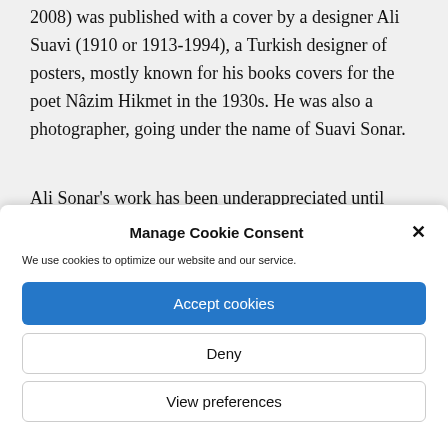2008) was published with a cover by a designer Ali Suavi (1910 or 1913-1994), a Turkish designer of posters, mostly known for his books covers for the poet Nâzim Hikmet in the 1930s. He was also a photographer, going under the name of Suavi Sonar.
Ali Sonar's work has been underappreciated until
Manage Cookie Consent
We use cookies to optimize our website and our service.
Accept cookies
Deny
View preferences